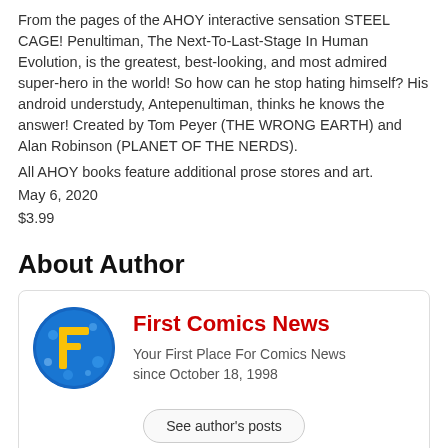From the pages of the AHOY interactive sensation STEEL CAGE! Penultiman, The Next-To-Last-Stage In Human Evolution, is the greatest, best-looking, and most admired super-hero in the world! So how can he stop hating himself? His android understudy, Antepenultiman, thinks he knows the answer! Created by Tom Peyer (THE WRONG EARTH) and Alan Robinson (PLANET OF THE NERDS).
All AHOY books feature additional prose stores and art.
May 6, 2020
$3.99
About Author
[Figure (logo): First Comics News circular logo with a large yellow letter F on a blue background]
First Comics News
Your First Place For Comics News since October 18, 1998
See author's posts